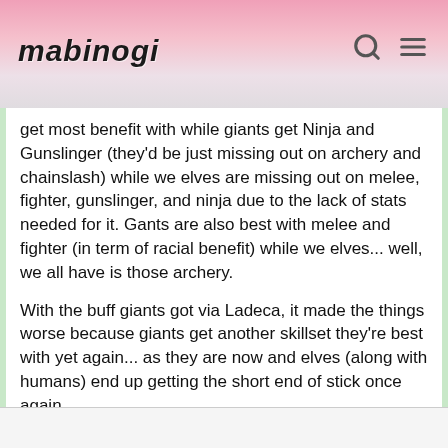mabinogi
get most benefit with while giants get Ninja and Gunslinger (they'd be just missing out on archery and chainslash) while we elves are missing out on melee, fighter, gunslinger, and ninja due to the lack of stats needed for it. Gants are also best with melee and fighter (in term of racial benefit) while we elves... well, we all have is those archery.
With the buff giants got via Ladeca, it made the things worse because giants get another skillset they're best with yet again... as they are now and elves (along with humans) end up getting the short end of stick once again.
[Figure (illustration): Two rows of anime-style character avatar icons (10 total shown + 1 other). Row 1: orange-haired female, dark-haired female, blonde female, orange-haired female, blonde female, armored dark figure, red-haired female, red-haired female. Row 2: white-haired female, blonde female. Plus text 'and 1 other.']